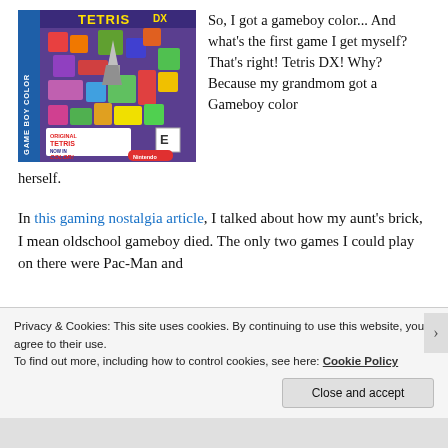[Figure (photo): Tetris DX Game Boy Color box art showing colorful Tetris blocks and a space shuttle on a purple background with 'ORIGINAL TETRIS NOW IN COLOR!' text and Nintendo branding]
So, I got a gameboy color... And what's the first game I get myself? That's right! Tetris DX! Why? Because my grandmom got a Gameboy color herself.
In this gaming nostalgia article, I talked about how my aunt's brick, I mean oldschool gameboy died. The only two games I could play on there were Pac-Man and
Privacy & Cookies: This site uses cookies. By continuing to use this website, you agree to their use.
To find out more, including how to control cookies, see here: Cookie Policy
Close and accept